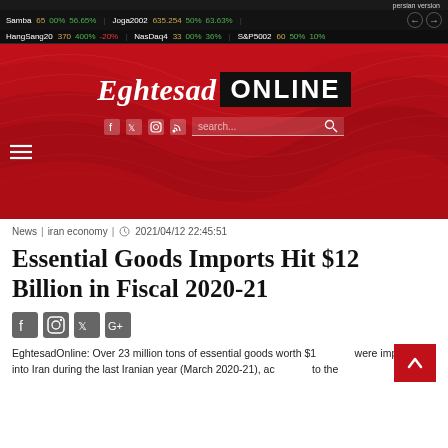persian version
Samba 65 00% 56.65% | Joga2002 635.254 50% 63.63%
HangSang20 370 400% -20% | NasDaq4 33 00% 36% | S&P5002 60 50% 10%
[Figure (screenshot): Eghtesad ONLINE website header banner with red wave background, logo, social media icons, and search bar]
News | iran economy | 2021/04/12 22:45:51
Essential Goods Imports Hit $12 Billion in Fiscal 2020-21
EghtesadOnline: Over 23 million tons of essential goods worth $1... were imported into Iran during the last Iranian year (March 2020-21), ac... to the